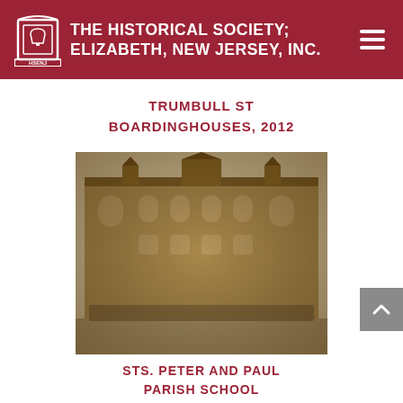THE HISTORICAL SOCIETY; ELIZABETH, NEW JERSEY, INC.
TRUMBULL ST BOARDINGHOUSES, 2012
[Figure (photo): Historic sepia photograph of a large brick school building (likely late 19th or early 20th century) with Gothic-style arched windows, a small turret/tower, and a large group of students gathered in front of the building.]
STS. PETER AND PAUL PARISH SCHOOL
[Figure (photo): Partial view of a second historical photograph, showing trees and what appears to be a building structure, cropped at page bottom.]